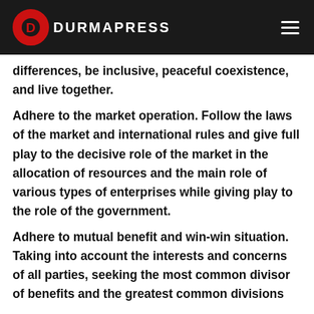DURMAPRESS
differences, be inclusive, peaceful coexistence, and live together. Adhere to the market operation. Follow the laws of the market and international rules and give full play to the decisive role of the market in the allocation of resources and the main role of various types of enterprises while giving play to the role of the government. Adhere to mutual benefit and win-win situation. Taking into account the interests and concerns of all parties, seeking the most common divisor of benefits and the greatest common divisions